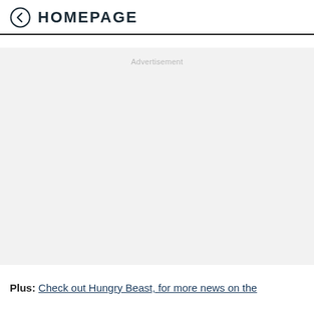HOMEPAGE
[Figure (other): Advertisement placeholder block with light grey background and 'Advertisement' label text centered at top]
Plus: Check out Hungry Beast, for more news on the